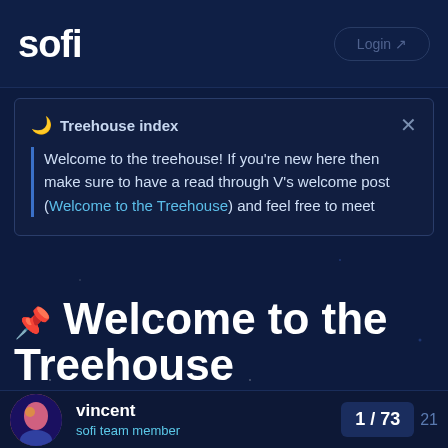sofi
Treehouse index
Welcome to the treehouse! If you're new here then make sure to have a read through V's welcome post (Welcome to the Treehouse) and feel free to meet
📌 Welcome to the Treehouse
Talking sofi: We're in this together
vincent · sofi team member · 1/73 · 21